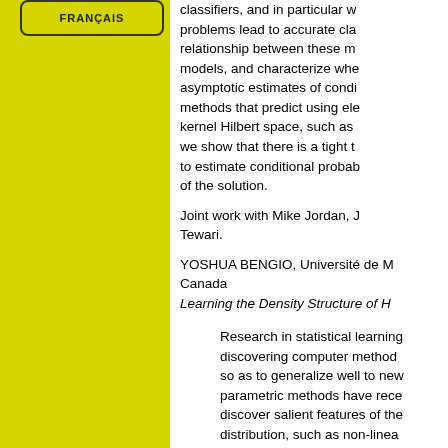[Figure (other): Yellow sidebar panel with FRANÇAIS button at top]
classifiers, and in particular w problems lead to accurate cla relationship between these m models, and characterize whe asymptotic estimates of condi methods that predict using ele kernel Hilbert space, such as we show that there is a tight t to estimate conditional probab of the solution.
Joint work with Mike Jordan, J Tewari.
YOSHUA BENGIO, Université de M Canada
Learning the Density Structure of H
Research in statistical learning discovering computer method so as to generalize well to new parametric methods have rece discover salient features of the distribution, such as non-linea how many of them can be uni framework, as estimators of m